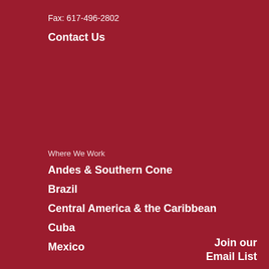Fax: 617-496-2802
Contact Us
Where We Work
Andes & Southern Cone
Brazil
Central America & the Caribbean
Cuba
Mexico
Join our Email List